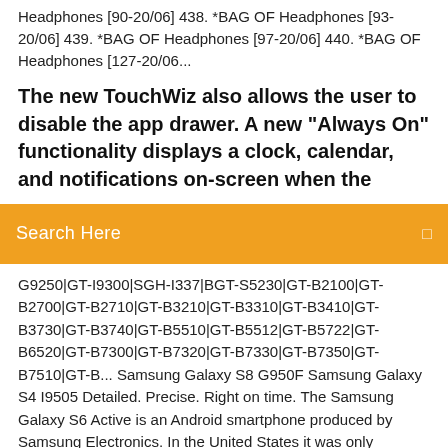Headphones [90-20/06] 438. *BAG OF Headphones [93-20/06] 439. *BAG OF Headphones [97-20/06] 440. *BAG OF Headphones [127-20/06...
The new TouchWiz also allows the user to disable the app drawer. A new "Always On" functionality displays a clock, calendar, and notifications on-screen when the
Search Here
G9250|GT-I9300|SGH-I337|BGT-S5230|GT-B2100|GT-B2700|GT-B2710|GT-B3210|GT-B3310|GT-B3410|GT-B3730|GT-B3740|GT-B5510|GT-B5512|GT-B5722|GT-B6520|GT-B7300|GT-B7320|GT-B7330|GT-B7350|GT-B7510|GT-B... Samsung Galaxy S8 G950F Samsung Galaxy S4 I9505 Detailed. Precise. Right on time. The Samsung Galaxy S6 Active is an Android smartphone produced by Samsung Electronics. In the United States it was only available on the AT&T network. This is a list of devices using Qualcomm Snapdragon chips. Snapdragon is a family of mobile